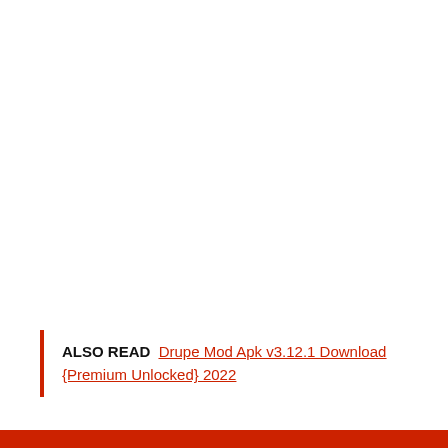ALSO READ  Drupe Mod Apk v3.12.1 Download {Premium Unlocked} 2022